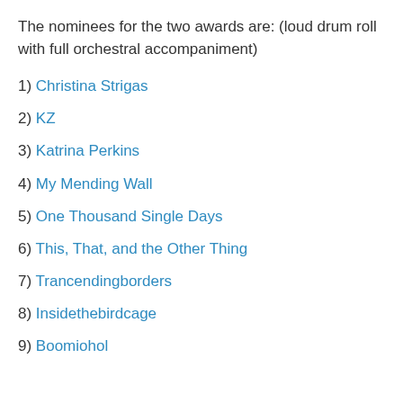The nominees for the two awards are: (loud drum roll with full orchestral accompaniment)
1) Christina Strigas
2) KZ
3) Katrina Perkins
4) My Mending Wall
5) One Thousand Single Days
6) This, That, and the Other Thing
7) Trancendingborders
8) Insidethebirdcage
9) Boomiohol